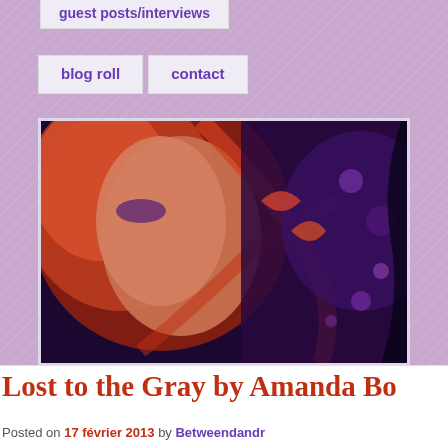guest posts/interviews
blog roll | contact
[Figure (photo): Banner image of a woman with red hair and purple/dark background with bokeh lights]
CATEGORY ARCHIVES: SHAEDE ASSASSIN
Newer posts →
Lost to the Gray by Amanda Bo
Posted on 17 février 2013 by Betweendandr